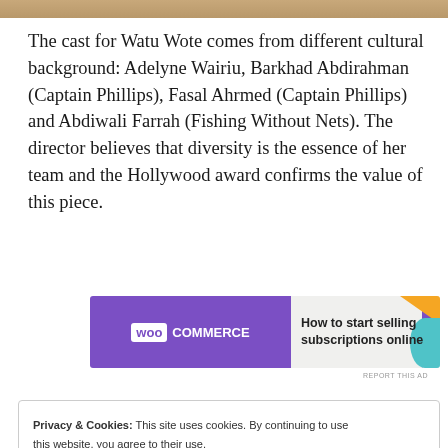[Figure (photo): Partial photo strip at top of page showing warm-toned image]
The cast for Watu Wote comes from different cultural background: Adelyne Wairiu, Barkhad Abdirahman (Captain Phillips), Fasal Ahrmed (Captain Phillips) and Abdiwali Farrah (Fishing Without Nets). The director believes that diversity is the essence of her team and the Hollywood award confirms the value of this piece.
[Figure (other): WooCommerce advertisement banner: purple left section with WooCommerce logo, right section with text 'How to start selling subscriptions online' with orange and teal decorative elements]
REPORT THIS AD
Privacy & Cookies: This site uses cookies. By continuing to use this website, you agree to their use.
To find out more, including how to control cookies, see here: Cookie Policy